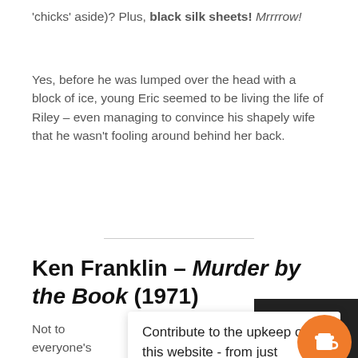'chicks' aside)? Plus, black silk sheets! Mrrrrow!
Yes, before he was lumped over the head with a block of ice, young Eric seemed to be living the life of Riley – even managing to convince his shapely wife that he wasn't fooling around behind her back.
Ken Franklin – Murder by the Book (1971)
Not to everyone's taste, but Ken Frank may lack in
Contribute to the upkeep of this website - from just $3
[Figure (photo): Photo of a person, partially visible, dark background, with an orange coffee cup icon circle overlay]